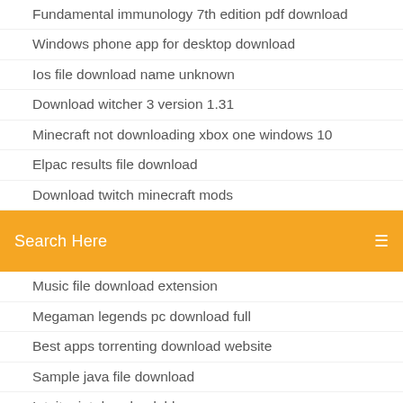Fundamental immunology 7th edition pdf download
Windows phone app for desktop download
Ios file download name unknown
Download witcher 3 version 1.31
Minecraft not downloading xbox one windows 10
Elpac results file download
Download twitch minecraft mods
[Figure (screenshot): Orange search bar with white text 'Search Here' and a search icon on the right]
Music file download extension
Megaman legends pc download full
Best apps torrenting download website
Sample java file download
Intuit mint downloadable app
Windows 7 download pc
Romeo propuesta indecente download mp4
Back to the future 2 download mp4
Where does bittorrent save downloaded files
Kiera cass the one pdf free download